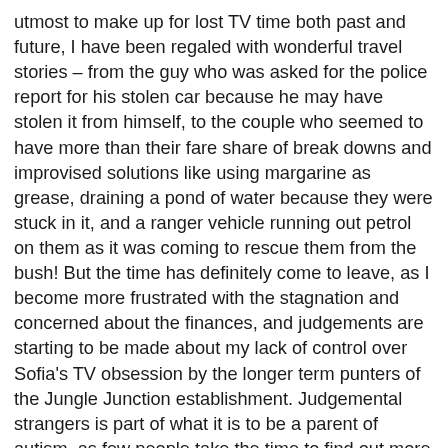utmost to make up for lost TV time both past and future, I have been regaled with wonderful travel stories – from the guy who was asked for the police report for his stolen car because he may have stolen it from himself, to the couple who seemed to have more than their fare share of break downs and improvised solutions like using margarine as grease, draining a pond of water because they were stuck in it, and a ranger vehicle running out petrol on them as it was coming to rescue them from the bush! But the time has definitely come to leave, as I become more frustrated with the stagnation and concerned about the finances, and judgements are starting to be made about my lack of control over Sofia's TV obsession by the longer term punters of the Jungle Junction establishment. Judgemental strangers is part of what it is to be a parent of autism, as few people take the time to find out more about why things might be the way they are and even less interested to accept autism as a valid reason to any behaviour that they personally disapprove of. Yes I definitely feel it is time to go! 😀